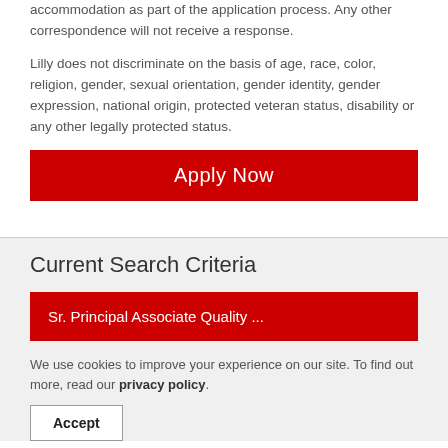accommodation as part of the application process. Any other correspondence will not receive a response.
Lilly does not discriminate on the basis of age, race, color, religion, gender, sexual orientation, gender identity, gender expression, national origin, protected veteran status, disability or any other legally protected status.
Apply Now
Current Search Criteria
Sr. Principal Associate Quality ...
We use cookies to improve your experience on our site. To find out more, read our privacy policy.
Accept